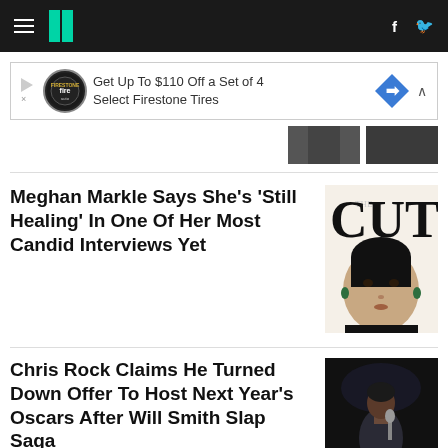HuffPost navigation bar with hamburger menu, logo, facebook and twitter icons
[Figure (other): Advertisement banner: Get Up To $110 Off a Set of 4 Select Firestone Tires with Firestone auto logo and blue diamond arrow icon]
[Figure (photo): Two partial thumbnail images at top right]
Meghan Markle Says She's 'Still Healing' In One Of Her Most Candid Interviews Yet
[Figure (photo): Meghan Markle on cover of The Cut magazine, wearing black turtleneck with green earrings]
Chris Rock Claims He Turned Down Offer To Host Next Year's Oscars After Will Smith Slap Saga
[Figure (photo): Chris Rock performing stand-up comedy on stage holding microphone, wearing dark jacket]